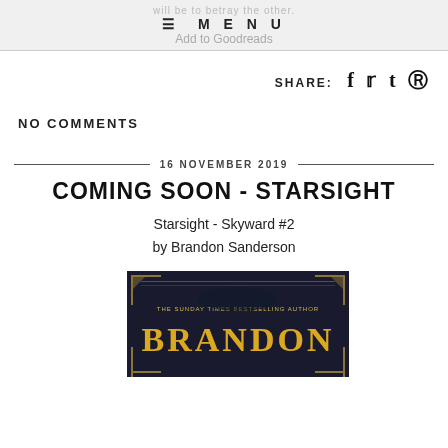will be to betray the other. MENU Add to Goodreads
SHARE: f t ® (social share icons)
NO COMMENTS
16 NOVEMBER 2019
COMING SOON - STARSIGHT
Starsight - Skyward #2
by Brandon Sanderson
[Figure (photo): Book cover of Starsight by Brandon Sanderson, showing dark fantasy/sci-fi artwork with gold text reading BRANDON, labeled THE SUNDAY TIMES BESTSELLING AUTHOR]